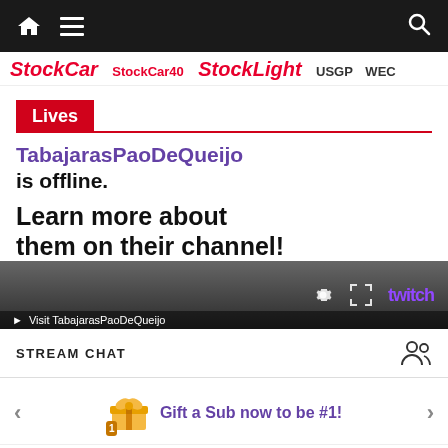Navigation bar with home, menu, and search icons
StockCar StockCar40 StockLight USGP WEC
Lives
TabajarasPaoDeQueijo is offline.
Learn more about them on their channel!
[Figure (screenshot): Twitch embedded player showing offline channel with settings, fullscreen, and Twitch logo controls, and a Visit TabajarasPaoDeQueijo link bar]
STREAM CHAT
Gift a Sub now to be #1!